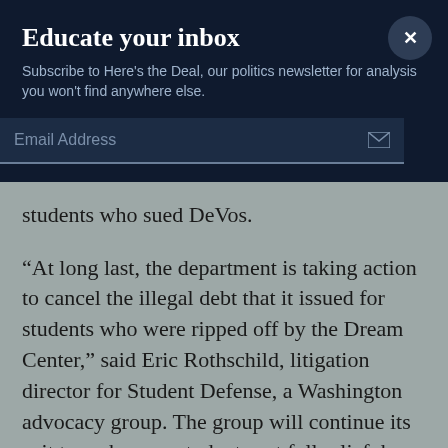Educate your inbox
Subscribe to Here's the Deal, our politics newsletter for analysis you won't find anywhere else.
Email Address
students who sued DeVos.
“At long last, the department is taking action to cancel the illegal debt that it issued for students who were ripped off by the Dream Center,” said Eric Rothschild, litigation director for Student Defense, a Washington advocacy group. The group will continue its suit to make sure students get full relief, he said.